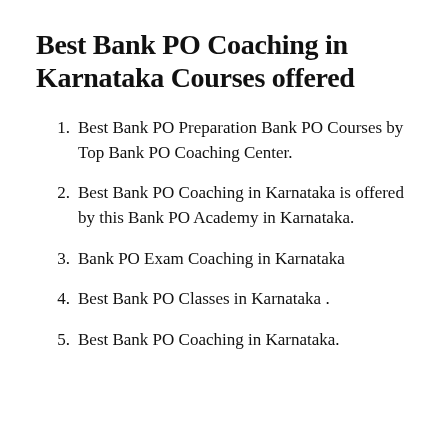Best Bank PO Coaching in Karnataka Courses offered
Best Bank PO Preparation Bank PO Courses by Top Bank PO Coaching Center.
Best Bank PO Coaching in Karnataka is offered by this Bank PO Academy in Karnataka.
Bank PO Exam Coaching in Karnataka
Best Bank PO Classes in Karnataka .
Best Bank PO Coaching in Karnataka.